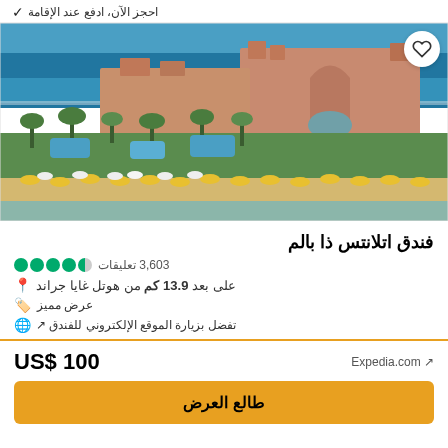احجز الآن، ادفع عند الإقامة
[Figure (photo): Aerial view of Atlantis The Palm hotel in Dubai, showing the iconic pink resort building, pools, beach with yellow umbrellas, and blue sea]
فندق اتلانتس ذا بالم
3,603 تعليقات
على بعد 13.9 كم من هوتل غايا جراند
عرض مميز
تفضل بزيارة الموقع الإلكتروني للفندق
US$ 100
Expedia.com
طالع العرض